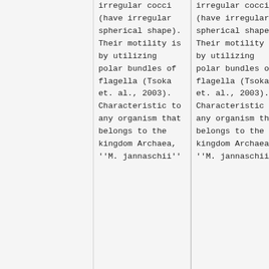irregular cocci (have irregular spherical shape). Their motility is by utilizing polar bundles of flagella (Tsoka et. al., 2003). Characteristic to any organism that belongs to the kingdom Archaea, ''M. jannaschii''
irregular cocci (have irregular spherical shape). Their motility is by utilizing polar bundles of flagella (Tsoka et. al., 2003). Characteristic to any organism that belongs to the kingdom Archaea, ''M. jannaschii''